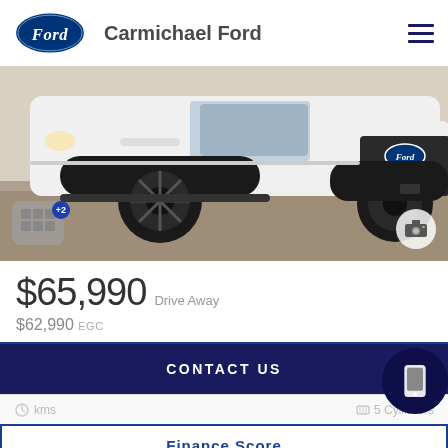Carmichael Ford
[Figure (photo): Front view of a white Ford Ranger with black wheels and black trim, photographed outdoors on a paved surface.]
$65,990 Drive Away
$62,990 EGC
CONTACT US
kms
5 Cylinders
Finance Score